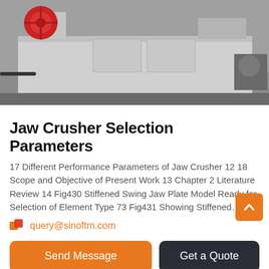[Figure (photo): Industrial jaw crusher machine photographed in a warehouse/factory setting. A large grey rectangular machine body is visible with a red mechanical component (pulley/flywheel) on the upper left. The machine sits on feet/supports.]
Jaw Crusher Selection Parameters
17 Different Performance Parameters of Jaw Crusher 12 18 Scope and Objective of Present Work 13 Chapter 2 Literature Review 14 Fig430 Stiffened Swing Jaw Plate Model Ready for Selection of Element Type 73 Fig431 Showing Stiffened…
query@sinoftm.com
Minerals Weir Group
Actual capacity will depend on eccentric speed chamber